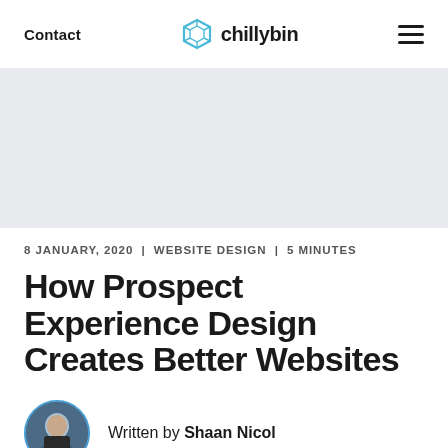Contact | chillybin | ☰
[Figure (photo): Hero image area (light gray placeholder)]
8 JANUARY, 2020  |  WEBSITE DESIGN  |  5 MINUTES
How Prospect Experience Design Creates Better Websites
Written by Shaan Nicol